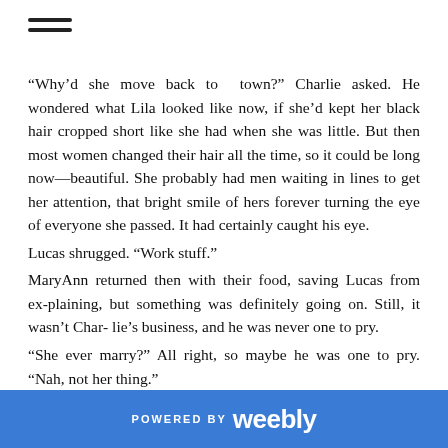≡ (hamburger menu icon)
“Why’d she move back to town?” Charlie asked. He wondered what Lila looked like now, if she’d kept her black hair cropped short like she had when she was little. But then most women changed their hair all the time, so it could be long now—beautiful. She probably had men waiting in lines to get her attention, that bright smile of hers forever turning the eye of everyone she passed. It had certainly caught his eye.
Lucas shrugged. “Work stuff.”
MaryAnn returned then with their food, saving Lucas from explaining, but something was definitely going on. Still, it wasn’t Char- lie’s business, and he was never one to pry.
“She ever marry?” All right, so maybe he was one to pry. “Nah, not her thing.”
Charlie perked up at the thought, his heart light—happy. Wow,
POWERED BY weebly